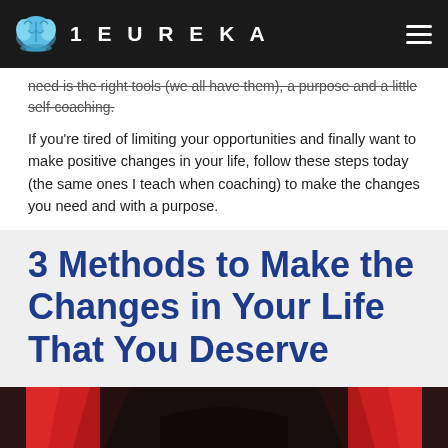1EUREKA
need is the right tools (we all have them), a purpose and a little self-coaching.
If you're tired of limiting your opportunities and finally want to make positive changes in your life, follow these steps today (the same ones I teach when coaching) to make the changes you need and with a purpose.
3 Methods to Make the Changes in Your Life That You Deserve
[Figure (photo): Dark stage or theater interior with red curtains visible, dimly lit background.]